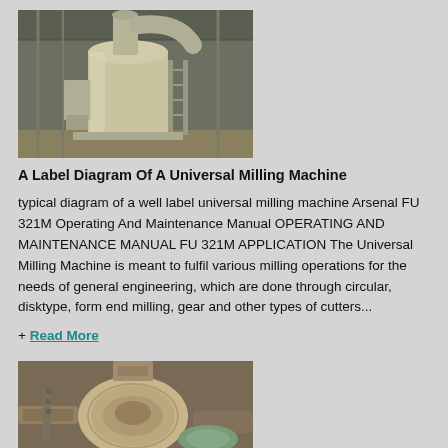[Figure (photo): Industrial milling machine inside a warehouse/factory building, showing large cylindrical equipment with pipes and ductwork.]
A Label Diagram Of A Universal Milling Machine
typical diagram of a well label universal milling machine Arsenal FU 321M Operating And Maintenance Manual OPERATING AND MAINTENANCE MANUAL FU 321M APPLICATION The Universal Milling Machine is meant to fulfil various milling operations for the needs of general engineering, which are done through circular, disktype, form end milling, gear and other types of cutters...
+ Read More
[Figure (photo): Close-up photo of industrial milling machine components, showing worn machinery parts.]